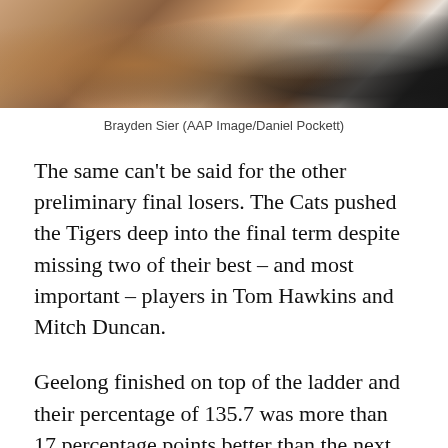[Figure (photo): Sports photo of Brayden Sier during an AFL match, showing players in close contact mid-game]
Brayden Sier (AAP Image/Daniel Pockett)
The same can't be said for the other preliminary final losers. The Cats pushed the Tigers deep into the final term despite missing two of their best – and most important – players in Tom Hawkins and Mitch Duncan.
Geelong finished on top of the ladder and their percentage of 135.7 was more than 17 percentage points better than the next best team, and yet it seems like no one outside of